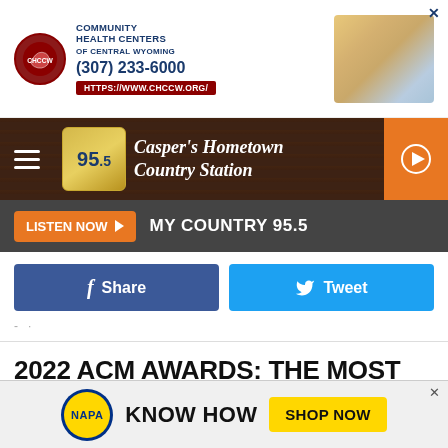[Figure (screenshot): Community Health Centers of Central Wyoming advertisement banner with phone number (307) 233-6000 and website https://www.chccw.org/]
[Figure (logo): My Country 95.5 radio station logo and header bar showing Casper's Hometown Country Station with play button]
[Figure (screenshot): Listen Now button and MY COUNTRY 95.5 label in dark bar]
[Figure (screenshot): Facebook Share and Twitter Tweet social sharing buttons]
2022 ACM AWARDS: THE MOST NOMINATED ARTISTS
Chris Young is the most-nominated artist at the 2022 ACM Awards, earning seven nominations. Some of country's biggest names earned multiple this
[Figure (screenshot): NAPA Know How Shop Now advertisement banner at bottom of page]